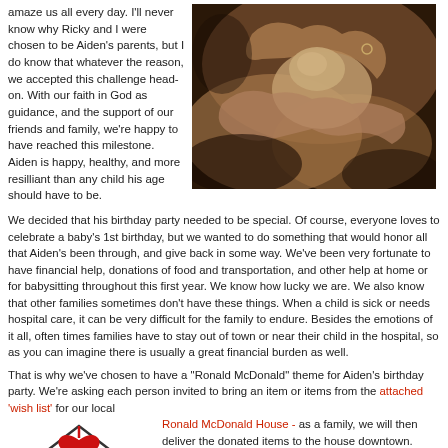amaze us all every day. I'll never know why Ricky and I were chosen to be Aiden's parents, but I do know that whatever the reason, we accepted this challenge head-on. With our faith in God as guidance, and the support of our friends and family, we're happy to have reached this milestone. Aiden is happy, healthy, and more resilliant than any child his age should have to be.
[Figure (photo): Sepia-toned photo of a newborn baby being held in adult hands]
We decided that his birthday party needed to be special. Of course, everyone loves to celebrate a baby's 1st birthday, but we wanted to do something that would honor all that Aiden's been through, and give back in some way. We've been very fortunate to have financial help, donations of food and transportation, and other help at home or for babysitting throughout this first year. We know how lucky we are. We also know that other families sometimes don't have these things. When a child is sick or needs hospital care, it can be very difficult for the family to endure. Besides the emotions of it all, often times families have to stay out of town or near their child in the hospital, so as you can imagine there is usually a great financial burden as well.
That is why we've chosen to have a "Ronald McDonald" theme for Aiden's birthday party. We're asking each person invited to bring an item or items from the attached 'wish list' for our local Ronald McDonald House - as a family, we will then deliver the donated items to the house downtown. Keeping with the theme, the kids at the party will have Happy Meals, the cake will be decorated with Ronald McDonald, etc. We're really excited to celebrate Aiden's birthday this way while also being able to support one of the most important charities for families with kids needing medical care.
[Figure (illustration): Ronald McDonald House logo illustration: a cartoon house outline with a red heart and Ronald McDonald character elements]
We are keeping his birthday celebration on the smaller side